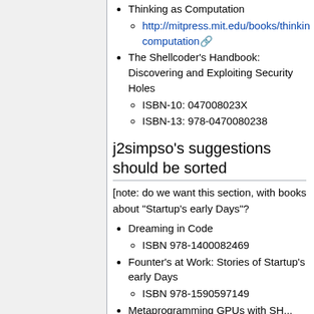Thinking as Computation
http://mitpress.mit.edu/books/thinking-computation
The Shellcoder's Handbook: Discovering and Exploiting Security Holes
ISBN-10: 047008023X
ISBN-13: 978-0470080238
j2simpso's suggestions should be sorted
[note: do we want this section, with books about "Startup's early Days"?
Dreaming in Code
ISBN 978-1400082469
Founter's at Work: Stories of Startup's early Days
ISBN 978-1590597149
Metaprogramming GPUs with SH...